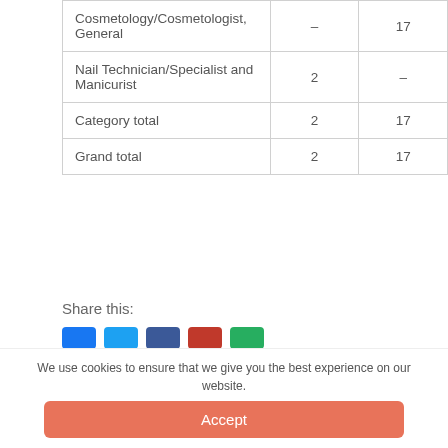|  |  |  |
| --- | --- | --- |
| Cosmetology/Cosmetologist, General | – | 17 |
| Nail Technician/Specialist and Manicurist | 2 | – |
| Category total | 2 | 17 |
| Grand total | 2 | 17 |
Share this:
We use cookies to ensure that we give you the best experience on our website.
Accept